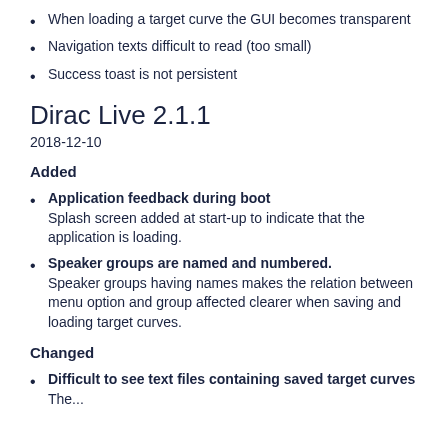When loading a target curve the GUI becomes transparent
Navigation texts difficult to read (too small)
Success toast is not persistent
Dirac Live 2.1.1
2018-12-10
Added
Application feedback during boot
Splash screen added at start-up to indicate that the application is loading.
Speaker groups are named and numbered.
Speaker groups having names makes the relation between menu option and group affected clearer when saving and loading target curves.
Changed
Difficult to see text files containing saved target curves